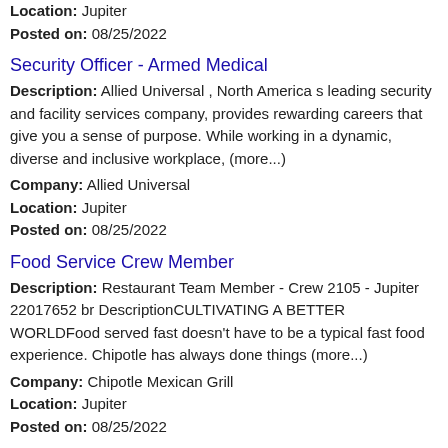Location: Jupiter
Posted on: 08/25/2022
Security Officer - Armed Medical
Description: Allied Universal , North America s leading security and facility services company, provides rewarding careers that give you a sense of purpose. While working in a dynamic, diverse and inclusive workplace, (more...)
Company: Allied Universal
Location: Jupiter
Posted on: 08/25/2022
Food Service Crew Member
Description: Restaurant Team Member - Crew 2105 - Jupiter 22017652 br DescriptionCULTIVATING A BETTER WORLDFood served fast doesn't have to be a typical fast food experience. Chipotle has always done things (more...)
Company: Chipotle Mexican Grill
Location: Jupiter
Posted on: 08/25/2022
Security Officer - Residential
Description: Allied Universal , North America s leading security and facility services company, provides rewarding careers that give you a